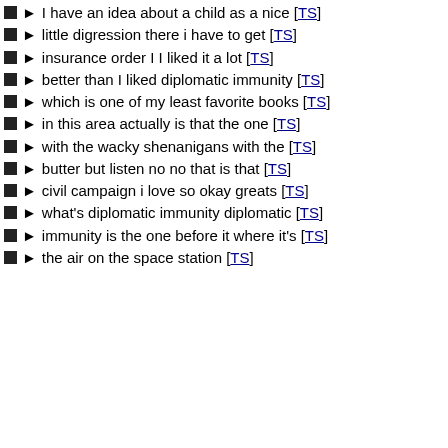I have an idea about a child as a nice [TS]
little digression there i have to get [TS]
insurance order I I liked it a lot [TS]
better than I liked diplomatic immunity [TS]
which is one of my least favorite books [TS]
in this area actually is that the one [TS]
with the wacky shenanigans with the [TS]
butter but listen no no that is that [TS]
civil campaign i love so okay greats [TS]
what's diplomatic immunity diplomatic [TS]
immunity is the one before it where it's [TS]
the air on the space station [TS]